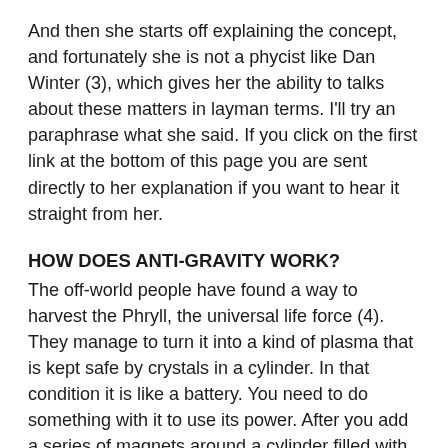And then she starts off explaining the concept, and fortunately she is not a phycist like Dan Winter (3), which gives her the ability to talks about these matters in layman terms. I'll try an paraphrase what she said. If you click on the first link at the bottom of this page you are sent directly to her explanation if you want to hear it straight from her.
HOW DOES ANTI-GRAVITY WORK?
The off-world people have found a way to harvest the Phryll, the universal life force (4). They manage to turn it into a kind of plasma that is kept safe by crystals in a cylinder. In that condition it is like a battery. You need to do something with it to use its power. After you add a series of magnets around a cylinder filled with this plasma-phryll, you put it within a toroid shape that consists of two layers which are separated by a void;